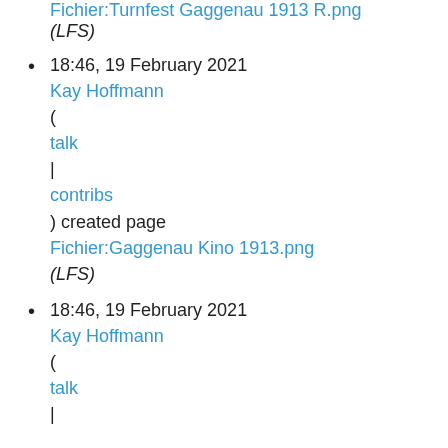Fichier:Turnfest Gaggenau 1913 R.png
(LFS)
18:46, 19 February 2021
Kay Hoffmann
(
talk
|
contribs
) created page
Fichier:Gaggenau Kino 1913.png
(LFS)
18:46, 19 February 2021
Kay Hoffmann
(
talk
|